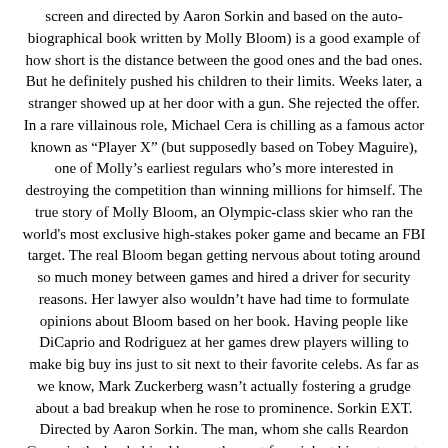screen and directed by Aaron Sorkin and based on the autobiographical book written by Molly Bloom) is a good example of how short is the distance between the good ones and the bad ones. But he definitely pushed his children to their limits. Weeks later, a stranger showed up at her door with a gun. She rejected the offer. In a rare villainous role, Michael Cera is chilling as a famous actor known as “Player X” (but supposedly based on Tobey Maguire), one of Molly’s earliest regulars who’s more interested in destroying the competition than winning millions for himself. The true story of Molly Bloom, an Olympic-class skier who ran the world's most exclusive high-stakes poker game and became an FBI target. The real Bloom began getting nervous about toting around so much money between games and hired a driver for security reasons. Her lawyer also wouldn’t have had time to formulate opinions about Bloom based on her book. Having people like DiCaprio and Rodriguez at her games drew players willing to make big buy ins just to sit next to their favorite celebs. As far as we know, Mark Zuckerberg wasn’t actually fostering a grudge about a bad breakup when he rose to prominence. Sorkin EXT. Directed by Aaron Sorkin. The man, whom she calls Reardon Green in the book, hired her on the spot for a job at his restaurant. Summary: Molly's Game is the true story of Molly Bloom a beautiful, young, Olympic-class skier who ran the world's most exclusive high-stakes poker game for a decade before being arrested in the middle of the night by 17 FBI agents wielding